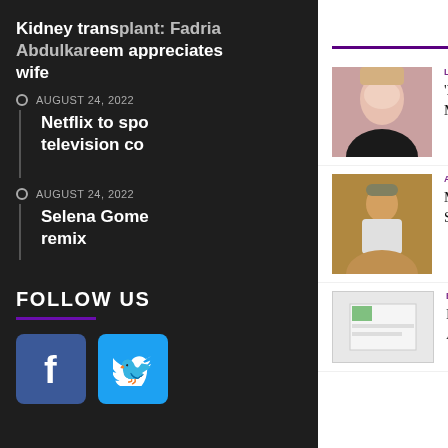Kidney transplant: Fadria Abdulkareem appreciates wife
AUGUST 24, 2022
Netflix to spo... television co...
AUGUST 24, 2022
Selena Gome... remix
FOLLOW US
[Figure (logo): Facebook logo button (blue square with f)]
[Figure (logo): Twitter logo button (cyan square with bird)]
×
LIFESTYLE
[Figure (photo): Photo of Actress Cindy Okafor]
'I Don't Think A Man Can Give Me The Type Of Money I'm Looking For' – Actress Cindy Okafor
ALLURE MAGAZINE MUSIC NEWS
[Figure (photo): Photo of Solidstar]
My fans are getting WEED from me this September, Solidstar boasts
ENTERTAINMENT
[Figure (photo): Thumbnail placeholder image]
It has always rained on the 13th of August, Eva Alordia recounts birth day story